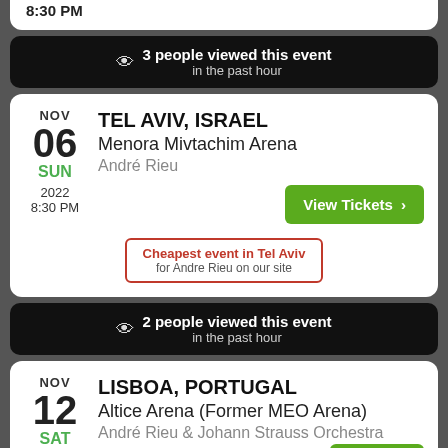8:30 PM
3 people viewed this event in the past hour
NOV 06 SUN 2022 8:30 PM | TEL AVIV, ISRAEL | Menora Mivtachim Arena | André Rieu | View Tickets | Cheapest event in Tel Aviv for Andre Rieu on our site
2 people viewed this event in the past hour
NOV 12 SAT | LISBOA, PORTUGAL | Altice Arena (Former MEO Arena) | André Rieu & Johann Strauss Orchestra | View Tickets